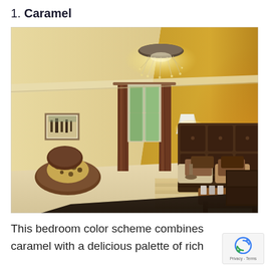1. Caramel
[Figure (photo): Luxury bedroom with caramel and brown color scheme featuring a large bed with dark leather headboard, crystal chandelier, chocolate brown curtains, a round accent chair with leopard print cushion, dark rug, and warm golden lighting on the walls.]
This bedroom color scheme combines caramel with a delicious palette of rich